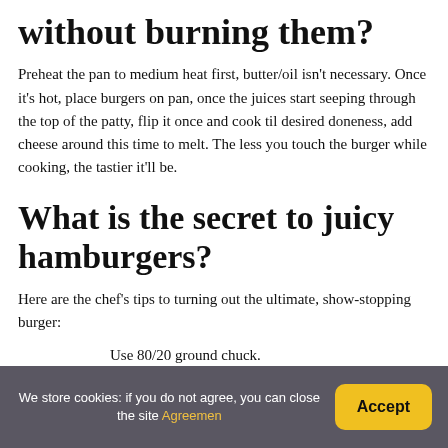without burning them?
Preheat the pan to medium heat first, butter/oil isn't necessary. Once it's hot, place burgers on pan, once the juices start seeping through the top of the patty, flip it once and cook til desired doneness, add cheese around this time to melt. The less you touch the burger while cooking, the tastier it'll be.
What is the secret to juicy hamburgers?
Here are the chef's tips to turning out the ultimate, show-stopping burger:
Use 80/20 ground chuck.
We store cookies: if you do not agree, you can close the site Agreemen